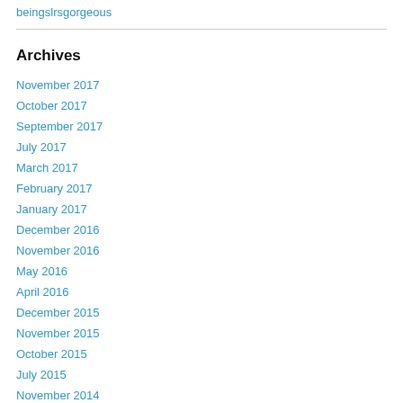beingslrsgorgeous
Archives
November 2017
October 2017
September 2017
July 2017
March 2017
February 2017
January 2017
December 2016
November 2016
May 2016
April 2016
December 2015
November 2015
October 2015
July 2015
November 2014